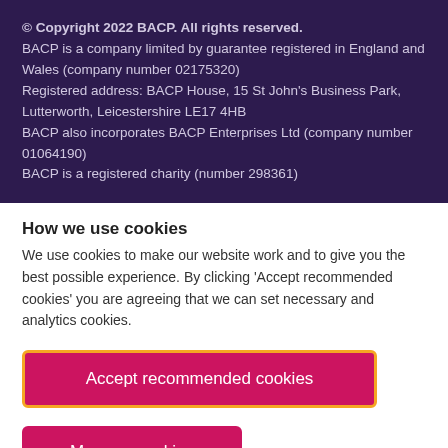© Copyright 2022 BACP. All rights reserved. BACP is a company limited by guarantee registered in England and Wales (company number 02175320) Registered address: BACP House, 15 St John's Business Park, Lutterworth, Leicestershire LE17 4HB BACP also incorporates BACP Enterprises Ltd (company number 01064190) BACP is a registered charity (number 298361)
How we use cookies
We use cookies to make our website work and to give you the best possible experience. By clicking 'Accept recommended cookies' you are agreeing that we can set necessary and analytics cookies.
Accept recommended cookies
Manage cookies